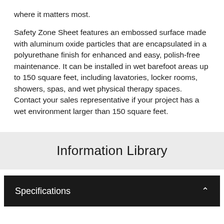where it matters most.
Safety Zone Sheet features an embossed surface made with aluminum oxide particles that are encapsulated in a polyurethane finish for enhanced and easy, polish-free maintenance. It can be installed in wet barefoot areas up to 150 square feet, including lavatories, locker rooms, showers, spas, and wet physical therapy spaces. Contact your sales representative if your project has a wet environment larger than 150 square feet.
Information Library
Specifications